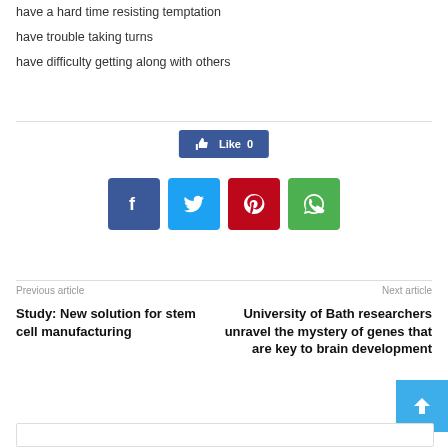have a hard time resisting temptation
have trouble taking turns
have difficulty getting along with others
[Figure (infographic): Facebook Like button showing 0 likes, and four social share icons: Facebook (blue), Twitter (light blue), Pinterest (red), WhatsApp (green)]
Previous article
Next article
Study: New solution for stem cell manufacturing
University of Bath researchers unravel the mystery of genes that are key to brain development